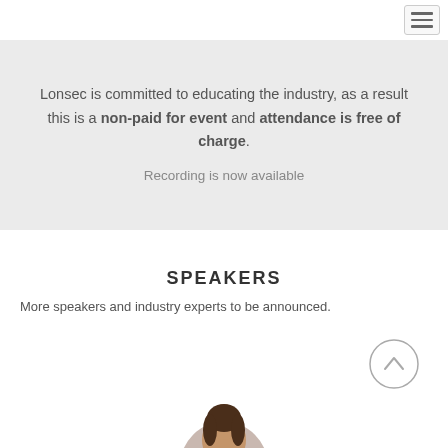[Figure (other): Hamburger menu button in top-right corner]
Lonsec is committed to educating the industry, as a result this is a non-paid for event and attendance is free of charge.

Recording is now available
SPEAKERS
More speakers and industry experts to be announced.
[Figure (other): Back to top arrow circle button]
[Figure (photo): Circular headshot photo of a female speaker, partially visible at bottom of page]